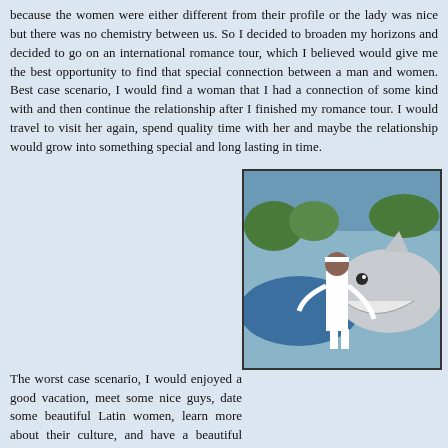because the women were either different from their profile or the lady was nice but there was no chemistry between us. So I decided to broaden my horizons and decided to go on an international romance tour, which I believed would give me the best opportunity to find that special connection between a man and women. Best case scenario, I would find a woman that I had a connection of some kind with and then continue the relationship after I finished my romance tour. I would travel to visit her again, spend quality time with her and maybe the relationship would grow into something special and long lasting in time.
The worst case scenario, I would enjoyed a good vacation, meet some nice guys, date some beautiful Latin women, learn more about their culture, and have a beautiful personal tour guide as my escort.
[Figure (photo): A young woman in a white dress hugging a large shark statue/figure, with a blue whale or fish shape visible behind, outdoor amusement park setting]
Without taking that next step and getting out of my comfort zone I would have never found my true love, Cristina. She is a remarkable woman. She is a true extrovert and loves socializing and is sweet, loving, and loves life. In Colombia she was the number one sells person for several years for a national insurance company. She had a new car and a three-bedroom townhome in a beautiful upscale neighborhood all paid for. She had a great life in Colombia excellent career, lots of friends and family.
[Figure (photo): A photo showing a woman, partially visible at the bottom left of the page]
But none of that was as important to her as having a man to love and to be loved. She dreamed of a loving family and